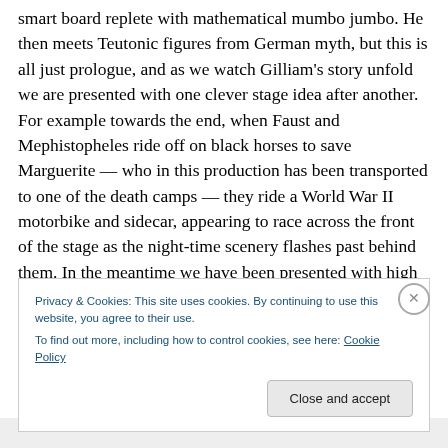smart board replete with mathematical mumbo jumbo. He then meets Teutonic figures from German myth, but this is all just prologue, and as we watch Gilliam's story unfold we are presented with one clever stage idea after another. For example towards the end, when Faust and Mephistopheles ride off on black horses to save Marguerite — who in this production has been transported to one of the death camps — they ride a World War II motorbike and sidecar, appearing to race across the front of the stage as the night-time scenery flashes past behind them. In the meantime we have been presented with high
Privacy & Cookies: This site uses cookies. By continuing to use this website, you agree to their use.
To find out more, including how to control cookies, see here: Cookie Policy
Close and accept